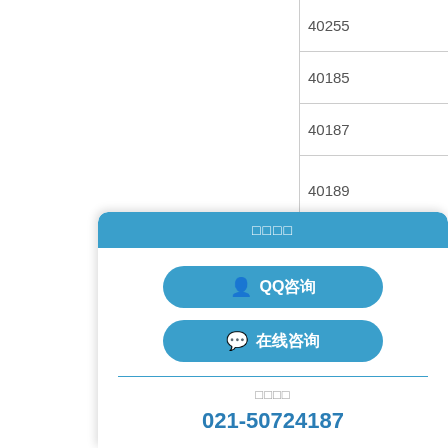|  |
| --- |
| 40255 |
| 40185 |
| 40187 |
| 40189 |
| 40188 |
| 40350 |
| 40190 |
[Figure (other): Blue popup UI widget with header (Chinese characters), two blue rounded buttons labeled QQ咨询 and 在线咨询, a divider, phone label (Chinese characters), and phone number 021-50724187]